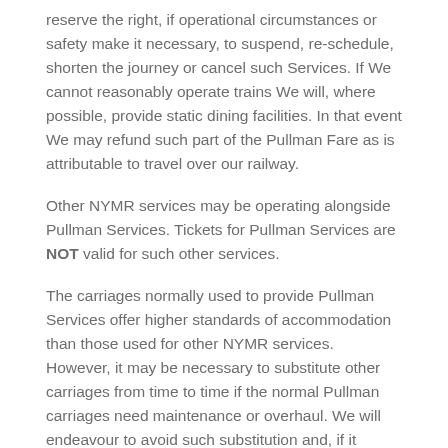reserve the right, if operational circumstances or safety make it necessary, to suspend, re-schedule, shorten the journey or cancel such Services. If We cannot reasonably operate trains We will, where possible, provide static dining facilities. In that event We may refund such part of the Pullman Fare as is attributable to travel over our railway.
Other NYMR services may be operating alongside Pullman Services. Tickets for Pullman Services are NOT valid for such other services.
The carriages normally used to provide Pullman Services offer higher standards of accommodation than those used for other NYMR services. However, it may be necessary to substitute other carriages from time to time if the normal Pullman carriages need maintenance or overhaul. We will endeavour to avoid such substitution and, if it becomes unavoidable, to use carriages that in age and appearance are more appropriate than those used routinely for other